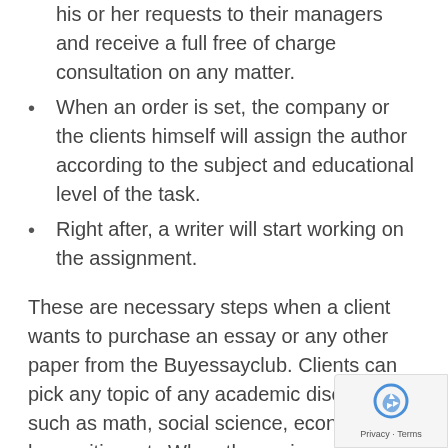his or her requests to their managers and receive a full free of charge consultation on any matter.
When an order is set, the company or the clients himself will assign the author according to the subject and educational level of the task.
Right after, a writer will start working on the assignment.
These are necessary steps when a client wants to purchase an essay or any other paper from the Buyessayclub. Clients can pick any topic of any academic discipline such as math, social science, economics, humanities, etc.When the assignment is in the working stage, the client pays the total price for it. The mediocre rate for college pape around $20 per page.